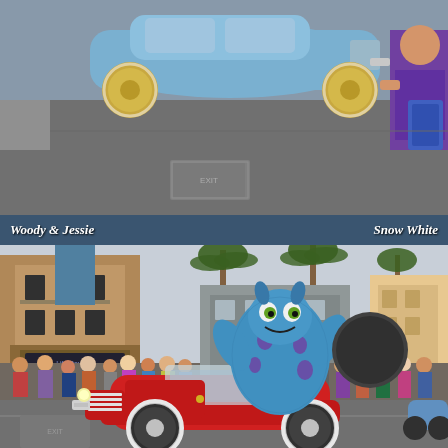[Figure (photo): Top portion of a Disney parade scene showing a light blue vintage car on a street, with a child in purple clothing visible on the right side.]
Woody & Jessie                                                Snow White
[Figure (photo): Disney parade scene showing Sulley from Monsters Inc. (blue furry monster character) riding in a red vintage convertible car, with parade crowds lining both sides of the street, buildings and palm trees in the background.]